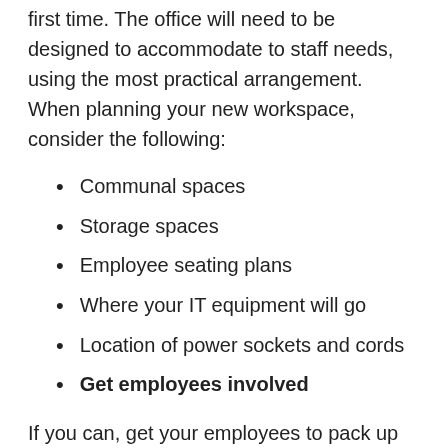first time. The office will need to be designed to accommodate to staff needs, using the most practical arrangement. When planning your new workspace, consider the following:
Communal spaces
Storage spaces
Employee seating plans
Where your IT equipment will go
Location of power sockets and cords
Get employees involved
If you can, get your employees to pack up their own workspace. Give them each a box or two with tape and a marker for labelling for their personal belongings and office equipment. Label each computer, screen, cord and hard drives before boxing and then label the box to